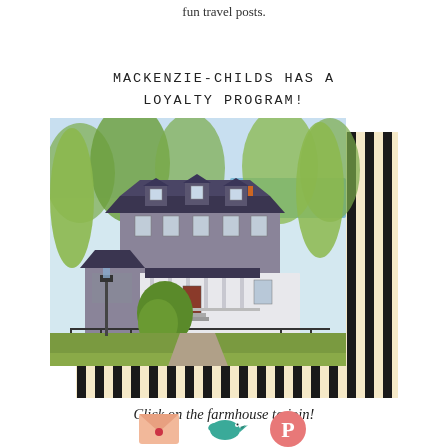fun travel posts.
MACKENZIE-CHILDS HAS A LOYALTY PROGRAM!
[Figure (illustration): Illustrated painting of a large Victorian farmhouse with dark roof, white lower level, wrap-around porch, surrounded by weeping willow trees and greenery, with a lake in the background. The image has a black and cream/tan striped border/mat extending to the lower right.]
Click on the farmhouse to join!
[Figure (illustration): Three social media icons at the bottom: a peach/salmon envelope icon with a red heart, a teal/turquoise bird icon, and a pink/coral Pinterest-style icon.]